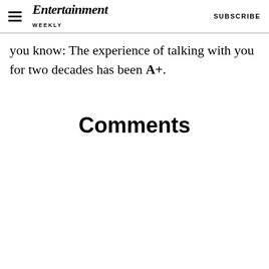Entertainment Weekly  SUBSCRIBE
you know: The experience of talking with you for two decades has been A+.
Comments